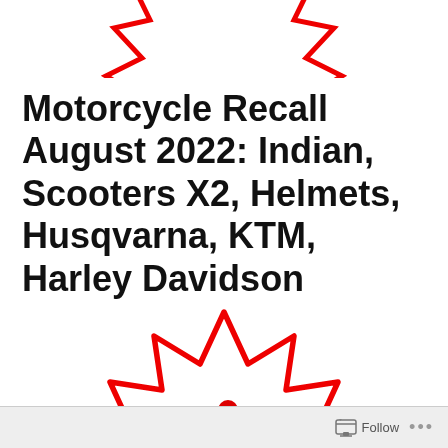[Figure (illustration): Red spiky burst/star shape (partial, cropped at top of page) — part of a motorcycle recall graphic]
Motorcycle Recall August 2022: Indian, Scooters X2, Helmets, Husqvarna, KTM, Harley Davidson
[Figure (illustration): Large red spiky starburst shape with a red motorcycle and rider icon in the center, and bold red text 'RECALL' below the icon]
Follow ...